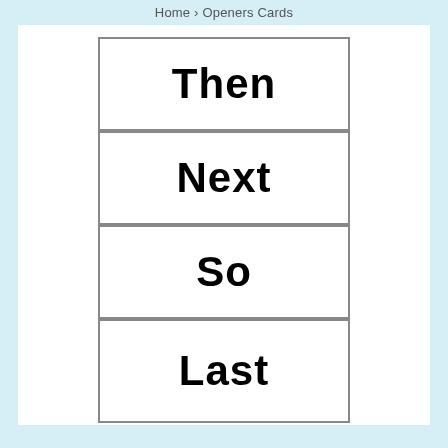Home › Openers Cards
Then
Next
So
Last